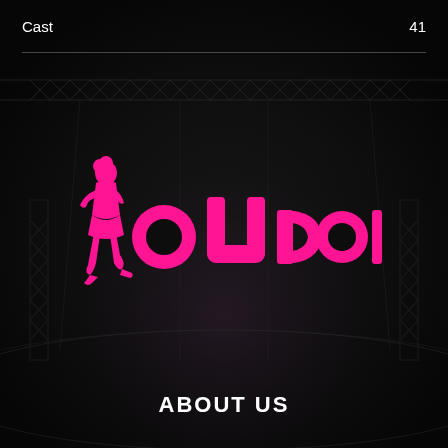Cast    41
[Figure (logo): IoUDoll logo in hot pink on dark background — stylized figure of a woman on left, bold text 'IoUDoll' in pink]
ABOUT US